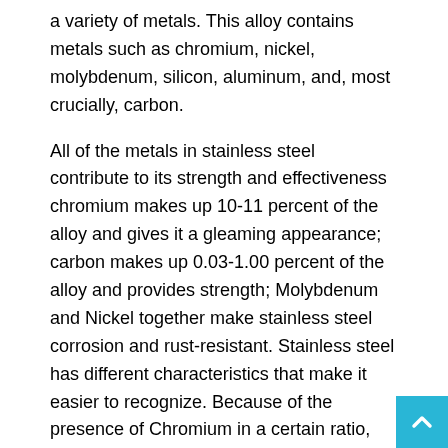a variety of metals. This alloy contains metals such as chromium, nickel, molybdenum, silicon, aluminum, and, most crucially, carbon.
All of the metals in stainless steel contribute to its strength and effectiveness chromium makes up 10-11 percent of the alloy and gives it a gleaming appearance; carbon makes up 0.03-1.00 percent of the alloy and provides strength; Molybdenum and Nickel together make stainless steel corrosion and rust-resistant. Stainless steel has different characteristics that make it easier to recognize. Because of the presence of Chromium in a certain ratio, SS is an extremely lustrous alloy.
Pipe, tubes, sheets, plates, bars, rods, and other forms of stainless steel are commonly stored. All of the other metals in SS make it excellent for the purpose because it is a rob...